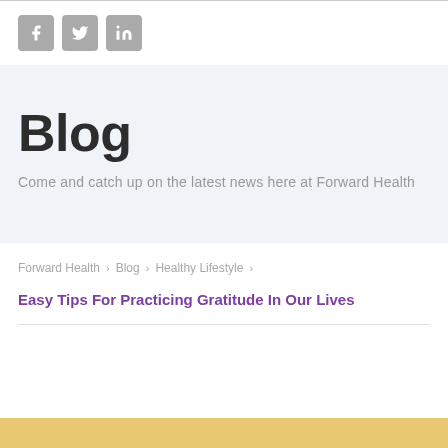[Figure (logo): Social media icons: Facebook, Twitter, LinkedIn in grey rounded square icons]
Blog
Come and catch up on the latest news here at Forward Health
Forward Health > Blog > Healthy Lifestyle >
Easy Tips For Practicing Gratitude In Our Lives